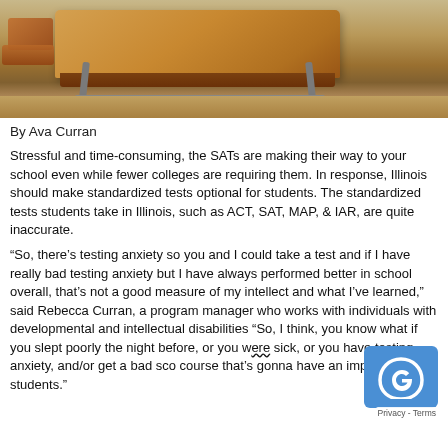[Figure (photo): Photograph of a wooden school desk and chair in a classroom setting, viewed from front at an angle, with hardwood floor visible.]
By Ava Curran
Stressful and time-consuming, the SATs are making their way to your school even while fewer colleges are requiring them. In response, Illinois should make standardized tests optional for students. The standardized tests students take in Illinois, such as ACT, SAT, MAP, & IAR, are quite inaccurate.
“So, there’s testing anxiety so you and I could take a test and if I have really bad testing anxiety but I have always performed better in school overall, that’s not a good measure of my intellect and what I’ve learned,” said Rebecca Curran, a program manager who works with individuals with developmental and intellectual disabilities “So, I think, you know what if you slept poorly the night before, or you were sick, or you have testing anxiety, and/or get a bad score, of course that’s gonna have an impact on students.”
These tests are not accommodated for children with different learning styles or children with learning disabilities, therefore, they do not accurately see what they know and it is unfair to those individuals.